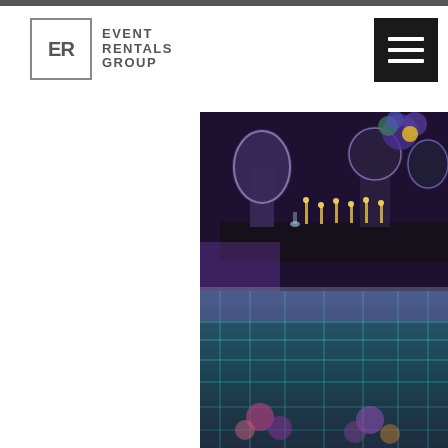[Figure (logo): Event Rentals Group logo with ER monogram in a square box and text EVENT RENTALS GROUP beside it]
[Figure (other): Black square hamburger menu icon with three white horizontal bars]
[Figure (photo): Event venue photo showing elegant chairs and tables in the upper half, and a lit LED dance floor with floral arrangements beneath in the lower half, with purple and teal lighting]